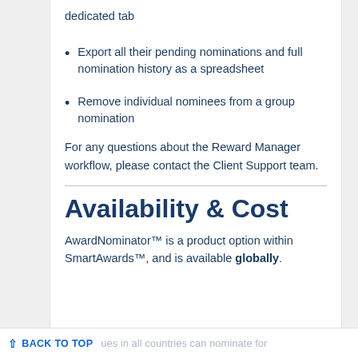dedicated tab
Export all their pending nominations and full nomination history as a spreadsheet
Remove individual nominees from a group nomination
For any questions about the Reward Manager workflow, please contact the Client Support team.
Availability & Cost
AwardNominator™ is a product option within SmartAwards™, and is available globally.
BACK TO TOP    colleagues in all countries can nominate for